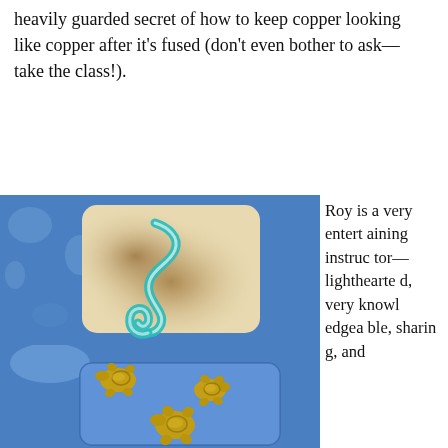heavily guarded secret of how to keep copper looking like copper after it's fused (don't even bother to ask—take the class!).
[Figure (photo): Top: A cream/beige fused glass tile with a teal/turquoise swirling snake or serpentine design on a blue surface background. Bottom (partial): A blue fused glass tile with three small metallic golden turtle figurines on a blue textured background.]
Roy is a very entertaining instructor—lighthearted, very knowledgeable, sharing, and